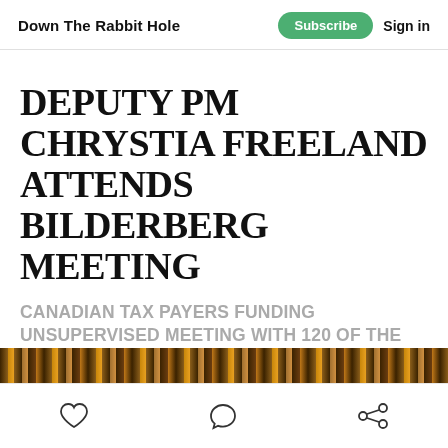Down The Rabbit Hole   Subscribe   Sign in
DEPUTY PM CHRYSTIA FREELAND ATTENDS BILDERBERG MEETING
CANADIAN TAX PAYERS FUNDING UNSUPERVISED MEETING WITH 120 OF THE WORLDS MOST INFLUENTIAL INDIVIDUALS; 4 OF THEM FROM CANADA
Kai
Jun 4